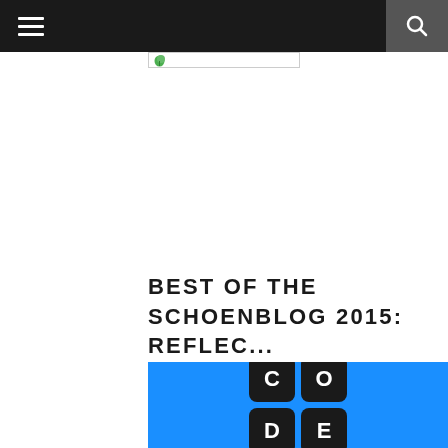Navigation bar with hamburger menu and search button
[Figure (logo): Small logo with green leaf icon inside a bordered rectangle]
BEST OF THE SCHOENBLOG 2015: REFLEC...
[Figure (illustration): Blue background with four black rounded square tiles arranged in a 2x2 grid spelling CODE: C, O, D, E in white letters]